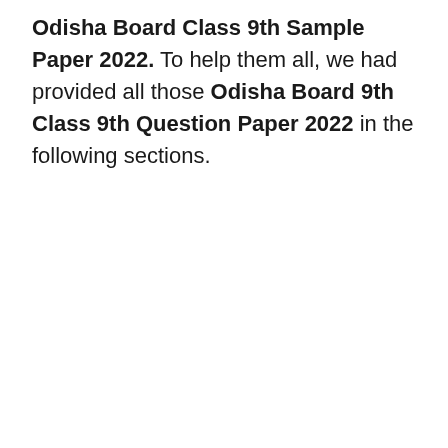Odisha Board Class 9th Sample Paper 2022. To help them all, we had provided all those Odisha Board 9th Class 9th Question Paper 2022 in the following sections.